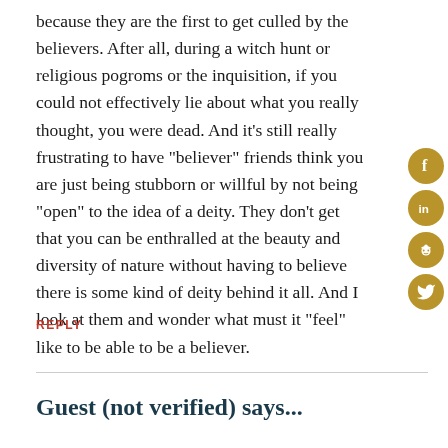because they are the first to get culled by the believers. After all, during a witch hunt or religious pogroms or the inquisition, if you could not effectively lie about what you really thought, you were dead. And it's still really frustrating to have "believer" friends think you are just being stubborn or willful by not being "open" to the idea of a deity. They don't get that you can be enthralled at the beauty and diversity of nature without having to believe there is some kind of deity behind it all. And I look at them and wonder what must it "feel" like to be able to be a believer.
REPLY
Guest (not verified) says...